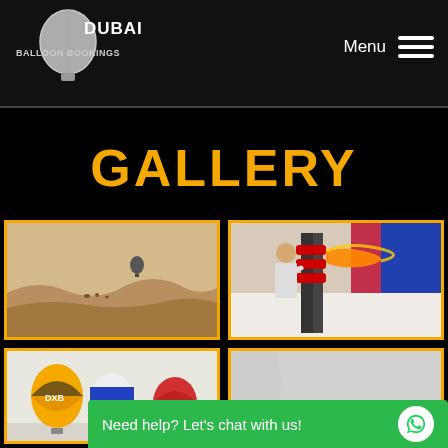[Figure (logo): Dubai Balloon Bookings logo with hot air balloon icon in white on black background]
GALLERY
[Figure (photo): Hot air balloon floating over desert dunes in hazy conditions]
[Figure (photo): Person operating balloon burner with flame shooting into red and blue balloon fabric]
[Figure (photo): Three hot air balloons on ground with colorful patterns]
[Figure (photo): Partial view of hot air balloon in light sky]
Need help? Let's chat with us!